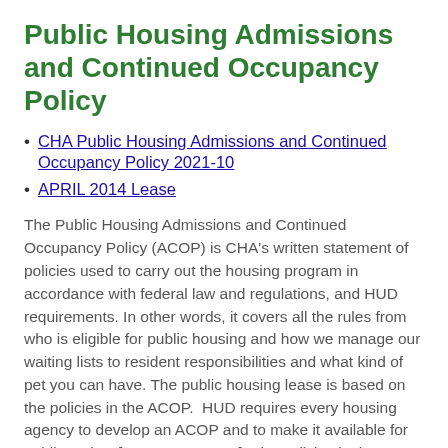Public Housing Admissions and Continued Occupancy Policy
CHA Public Housing Admissions and Continued Occupancy Policy 2021-10
APRIL 2014 Lease
The Public Housing Admissions and Continued Occupancy Policy (ACOP) is CHA's written statement of policies used to carry out the housing program in accordance with federal law and regulations, and HUD requirements. In other words, it covers all the rules from who is eligible for public housing and how we manage our waiting lists to resident responsibilities and what kind of pet you can have. The public housing lease is based on the policies in the ACOP.  HUD requires every housing agency to develop an ACOP and to make it available for public review [CFR 24 Part 903]. The policies in the ACOP support the objectives contained in CHA's Agency Plan.